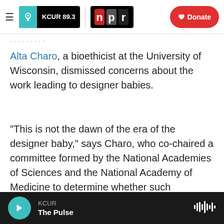KCUR 89.3 | npr | Donate
Alta Charo, a bioethicist at the University of Wisconsin, dismissed concerns about the work leading to designer babies.
"This is not the dawn of the era of the designer baby," says Charo, who co-chaired a committee formed by the National Academies of Sciences and the National Academy of Medicine to determine whether such experiments should be permissible. The committee concluded earlier this year that gene editing of human embryos could be allowed in rare cases when no other options are available —
KCUR | The Pulse